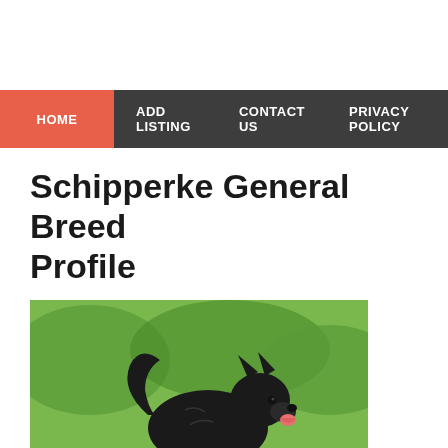HOME  ADD LISTING  CONTACT US  PRIVACY POLICY
Schipperke General Breed Profile
[Figure (photo): A black Schipperke dog running and leaping through a grassy field, tongue out, tail curled upward, photographed mid-air against a green background.]